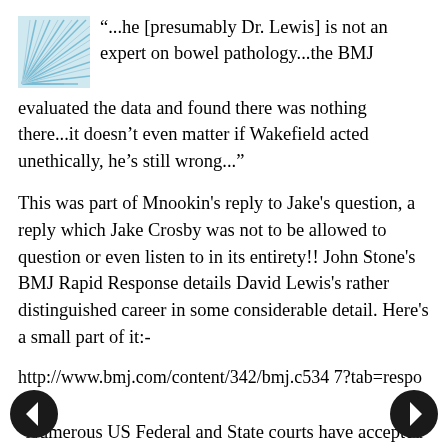[Figure (logo): Blue and white swirl/fan logo icon in upper left corner]
“...he [presumably Dr. Lewis] is not an expert on bowel pathology...the BMJ evaluated the data and found there was nothing there...it doesn’t even matter if Wakefield acted unethically, he’s still wrong...”
This was part of Mnookin's reply to Jake's question, a reply which Jake Crosby was not to be allowed to question or even listen to in its entirety!! John Stone's BMJ Rapid Response details David Lewis's rather distinguished career in some considerable detail. Here's a small part of it:-
http://www.bmj.com/content/342/bmj.c5347?tab=responses
"Numerous US Federal and State courts have accepted Dr Lewis as a qualified expert